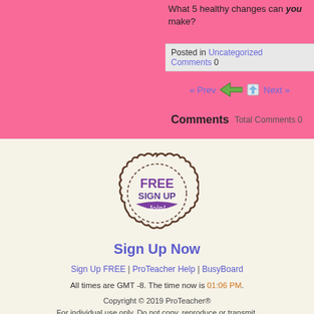What 5 healthy changes can you make?
Posted in Uncategorized   Comments 0
« Prev   Next »
Comments   Total Comments 0
[Figure (illustration): FREE SIGN UP Join! badge/seal graphic]
Sign Up Now
Sign Up FREE | ProTeacher Help | BusyBoard
All times are GMT -8. The time now is 01:06 PM.
Copyright © 2019 ProTeacher® For individual use only. Do not copy, reproduce or transmit. source: www.proteacher.net